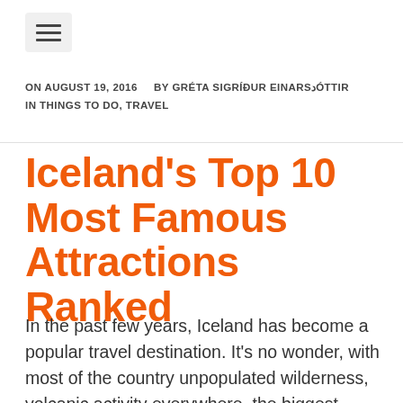[Figure (other): Hamburger menu icon button]
ON AUGUST 19, 2016   BY GRÉTA SIGRÍÐUR EINARSDÓTTIR
IN THINGS TO DO, TRAVEL
Iceland's Top 10 Most Famous Attractions Ranked
In the past few years, Iceland has become a popular travel destination. It's no wonder, with most of the country unpopulated wilderness, volcanic activity everywhere, the biggest glaciers in Europe, and everything else that's going on here. There are many reasons to come